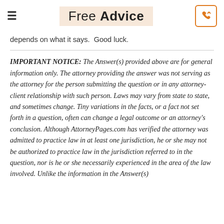Free Advice
depends on what it says.  Good luck.
IMPORTANT NOTICE: The Answer(s) provided above are for general information only. The attorney providing the answer was not serving as the attorney for the person submitting the question or in any attorney-client relationship with such person. Laws may vary from state to state, and sometimes change. Tiny variations in the facts, or a fact not set forth in a question, often can change a legal outcome or an attorney's conclusion. Although AttorneyPages.com has verified the attorney was admitted to practice law in at least one jurisdiction, he or she may not be authorized to practice law in the jurisdiction referred to in the question, nor is he or she necessarily experienced in the area of the law involved. Unlike the information in the Answer(s) above, which are NOT to be used as...